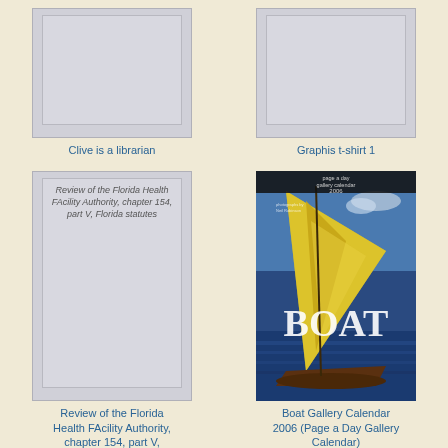[Figure (illustration): Gray placeholder book cover for 'Clive is a librarian']
Clive is a librarian
[Figure (illustration): Gray placeholder book cover for 'Graphis t-shirt 1']
Graphis t-shirt 1
[Figure (illustration): Book cover with text: Review of the Florida Health FAcility Authority, chapter 154, part V, Florida statutes]
Review of the Florida Health FAcility Authority, chapter 154, part V, Florida statutes
[Figure (photo): Boat Gallery Calendar 2006 cover showing a yellow-sailed boat on blue water with text 'page a day gallery calendar 2006' and 'BOAT']
Boat Gallery Calendar 2006 (Page a Day Gallery Calendar)